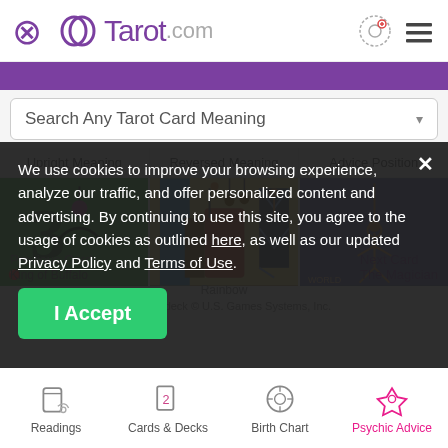Tarot.com
[Figure (screenshot): Search bar with text 'Search Any Tarot Card Meaning' and dropdown arrow]
Upright Meaning | Reversed Meaning | Advice Position
[Figure (illustration): Three tarot card images side by side: green card with number 3, colorful interior scene, blue/dark card]
We use cookies to improve your browsing experience, analyze our traffic, and offer personalized content and advertising. By continuing to use this site, you agree to the usage of cookies as outlined here, as well as our updated Privacy Policy and Terms of Use.
Previous Card
King of Buffalo
Next Card
The Magician
Rainbow
Santa Fe deck © U.S. Games Systems, Inc.
[Figure (screenshot): Bottom navigation bar with icons: Readings, Cards & Decks, Birth Chart, Psychic Advice (highlighted in pink)]